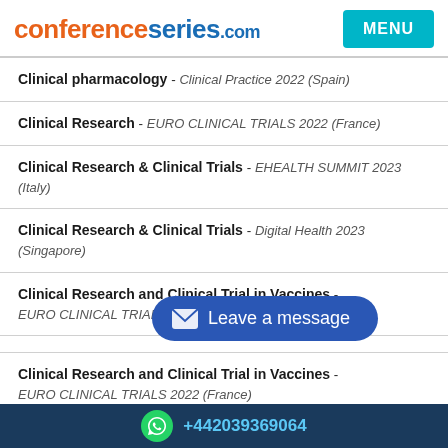conferenceseries.com
Clinical pharmacology - Clinical Practice 2022 (Spain)
Clinical Research - EURO CLINICAL TRIALS 2022 (France)
Clinical Research & Clinical Trials - EHEALTH SUMMIT 2023 (Italy)
Clinical Research & Clinical Trials - Digital Health 2023 (Singapore)
Clinical Research and Clinical Trial in Vaccines - EURO CLINICAL TRIALS 2022 (France) [overlaid]
Clinical Research and Clinical Trial in Vaccines - EURO CLINICAL TRIALS 2022 (France)
Clinical Research in Nursing - EURO CLINICAL TRIALS 2022
+442039369064